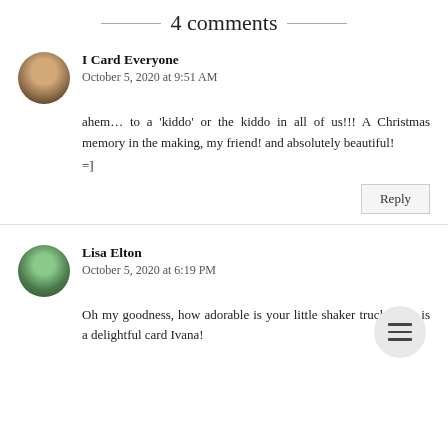4 comments
I Card Everyone
October 5, 2020 at 9:51 AM
ahem... to a 'kiddo' or the kiddo in all of us!!! A Christmas memory in the making, my friend! and absolutely beautiful!
=]
Lisa Elton
October 5, 2020 at 6:19 PM
Oh my goodness, how adorable is your little shaker truck! This is a delightful card Ivana!